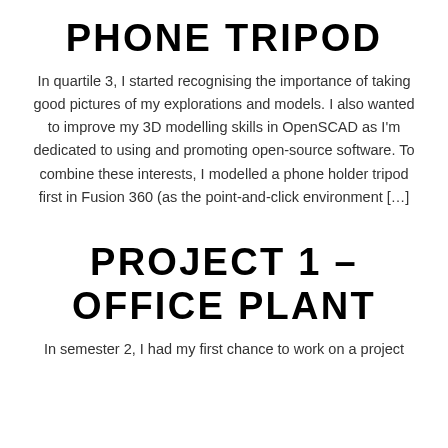PHONE TRIPOD
In quartile 3, I started recognising the importance of taking good pictures of my explorations and models. I also wanted to improve my 3D modelling skills in OpenSCAD as I'm dedicated to using and promoting open-source software. To combine these interests, I modelled a phone holder tripod first in Fusion 360 (as the point-and-click environment […]
PROJECT 1 – OFFICE PLANT
In semester 2, I had my first chance to work on a project